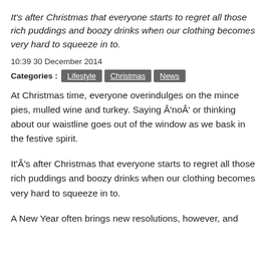It's after Christmas that everyone starts to regret all those rich puddings and boozy drinks when our clothing becomes very hard to squeeze in to.
10:39 30 December 2014
Categories : Lifestyle Christmas News
At Christmas time, everyone overindulges on the mince pies, mulled wine and turkey. Saying Â'noÂ' or thinking about our waistline goes out of the window as we bask in the festive spirit.
It'Â's after Christmas that everyone starts to regret all those rich puddings and boozy drinks when our clothing becomes very hard to squeeze in to.
A New Year often brings new resolutions, however, and